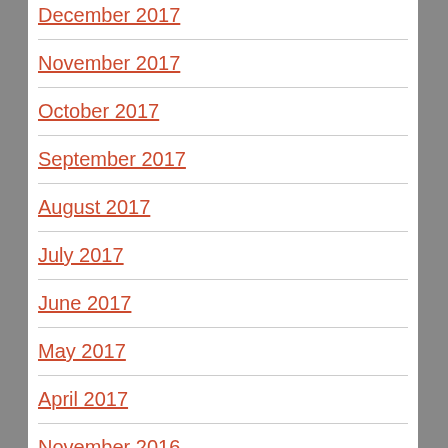December 2017
November 2017
October 2017
September 2017
August 2017
July 2017
June 2017
May 2017
April 2017
November 2016